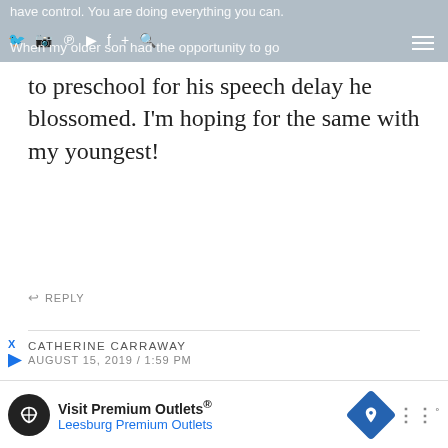have control. You are doing everything you can. When my older son had the opportunity to go
to preschool for his speech delay he blossomed. I'm hoping for the same with my youngest!
↩ REPLY
CATHERINE CARRAWAY
AUGUST 15, 2019 / 1:59 PM
I can sooo relate! I keep my cousin's 3 kids....almost 8, just turned 4 and Kit, who just turned 3. When Kit was 22 months, we were concerned because he wasn't talking. His older sib
Visit Premium Outlets®
Leesburg Premium Outlets